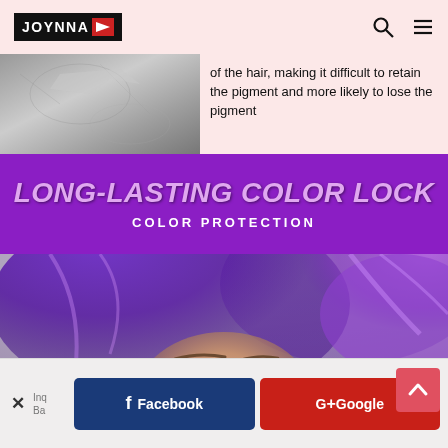JOYNNA [logo with navigation icons]
[Figure (photo): Partial black-and-white photo of a rocky or powdery textured substance, cropped at top]
of the hair, making it difficult to retain the pigment and more likely to lose the pigment
[Figure (infographic): Purple banner with text LONG-LASTING COLOR LOCK and COLOR PROTECTION]
LONG-LASTING COLOR LOCK
COLOR PROTECTION
[Figure (photo): Photo of a woman with vibrant purple hair against a gray background]
Facebook  G+Google  [Inquiry / close button]